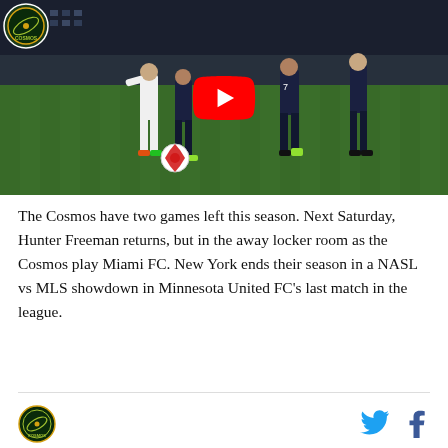[Figure (screenshot): Soccer match video thumbnail with YouTube play button overlay. Players in white and dark uniforms competing on a grass field at night. A team logo (Cosmos) appears in the top-left corner of the image.]
The Cosmos have two games left this season. Next Saturday, Hunter Freeman returns, but in the away locker room as the Cosmos play Miami FC. New York ends their season in a NASL vs MLS showdown in Minnesota United FC's last match in the league.
[Figure (logo): Cosmos team logo (circular, green and gold) in the footer]
[Figure (illustration): Twitter and Facebook social media icons in the footer]